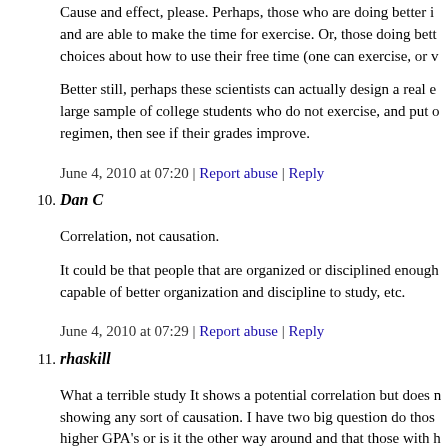Cause and effect, please. Perhaps, those who are doing better i and are able to make the time for exercise. Or, those doing bett choices about how to use their free time (one can exercise, or v
Better still, perhaps these scientists can actually design a real e large sample of college students who do not exercise, and put o regimen, then see if their grades improve.
June 4, 2010 at 07:20 | Report abuse | Reply
10. Dan C
Correlation, not causation.
It could be that people that are organized or disciplined enough capable of better organization and discipline to study, etc.
June 4, 2010 at 07:29 | Report abuse | Reply
11. rhaskill
What a terrible study It shows a potential correlation but does n showing any sort of causation. I have two big question do thos higher GPA's or is it the other way around and that those with h more? Or is there a completely unrelated connection? This is a absolutely nothing and shouldn't even be up here.